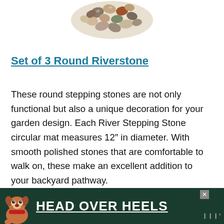[Figure (photo): A circular arrangement of round, smooth, multi-colored river stones/pebbles viewed from above, partially cropped at the top of the page.]
Set of 3 Round Riverstone
These round stepping stones are not only functional but also a unique decoration for your garden design. Each River Stepping Stone circular mat measures 12″ in diameter. With smooth polished stones that are comfortable to walk on, these make an excellent addition to your backyard pathway.
[Figure (photo): Advertisement banner showing a dog (boxer/pit bull type) with text 'HEAD OVER HEELS' in white block letters on a dark green background. Has a close button (X) in the upper right and a small logo mark on the right side.]